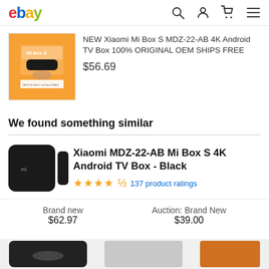ebay
[Figure (photo): Xiaomi Mi Box S product box on orange background]
NEW Xiaomi Mi Box S MDZ-22-AB 4K Android TV Box 100% ORIGINAL OEM SHIPS FREE
$56.69
We found something similar
[Figure (photo): Xiaomi Mi Box S 4K Android TV Box black device with remote]
Xiaomi MDZ-22-AB Mi Box S 4K Android TV Box - Black
★★★★½ 137 product ratings
Brand new
$62.97
Auction: Brand New
$39.00
[Figure (photo): Bottom strip showing additional product thumbnails]